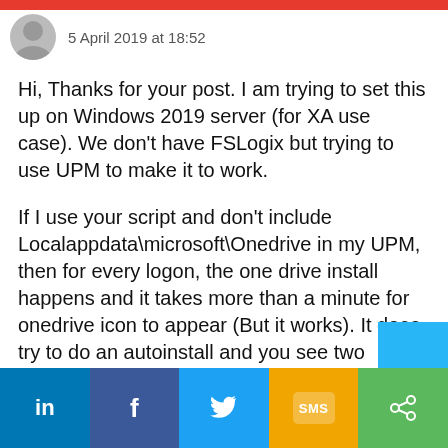5 April 2019 at 18:52
Hi, Thanks for your post. I am trying to set this up on Windows 2019 server (for XA use case). We don't have FSLogix but trying to use UPM to make it to work.
If I use your script and don't include Localappdata\microsoft\Onedrive in my UPM, then for every logon, the one drive install happens and it takes more than a minute for onedrive icon to appear (But it works). It does try to do an autoinstall and you see two versions
If I include Localappdata\microsoft\Onedrive in my UPM, then it is one of the configured the